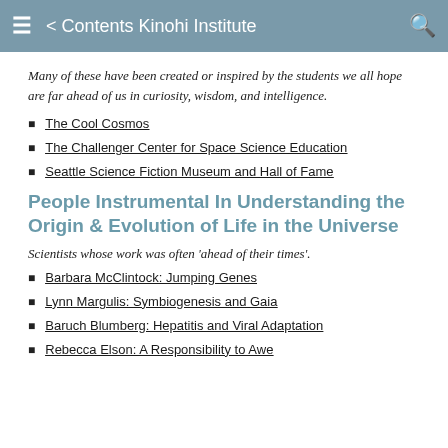≡ < Contents Kinohi Institute 🔍
Many of these have been created or inspired by the students we all hope are far ahead of us in curiosity, wisdom, and intelligence.
The Cool Cosmos
The Challenger Center for Space Science Education
Seattle Science Fiction Museum and Hall of Fame
People Instrumental In Understanding the Origin & Evolution of Life in the Universe
Scientists whose work was often 'ahead of their times'.
Barbara McClintock: Jumping Genes
Lynn Margulis: Symbiogenesis and Gaia
Baruch Blumberg: Hepatitis and Viral Adaptation
Rebecca Elson: A Responsibility to Awe